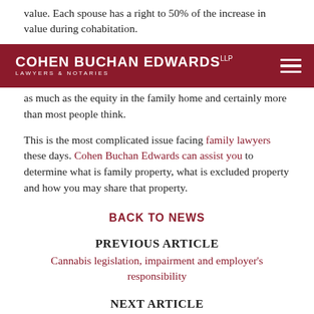value. Each spouse has a right to 50% of the increase in value during cohabitation.
COHEN BUCHAN EDWARDS LLP — LAWYERS & NOTARIES
as much as the equity in the family home and certainly more than most people think.

This is the most complicated issue facing family lawyers these days. Cohen Buchan Edwards can assist you to determine what is family property, what is excluded property and how you may share that property.
BACK TO NEWS
PREVIOUS ARTICLE
Cannabis legislation, impairment and employer's responsibility
NEXT ARTICLE
Reasons you should consider appointing a power of attorney